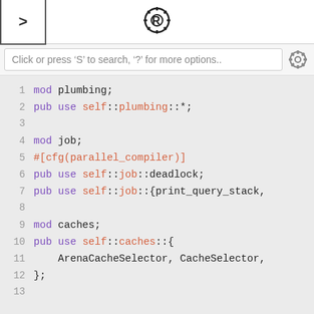[Figure (logo): Rust programming language gear logo at top center]
Click or press 'S' to search, '?' for more options..
[Figure (screenshot): Rust source code viewer showing lines 1-13 of a Rust module file with mod and pub use declarations for plumbing, job, and caches modules]